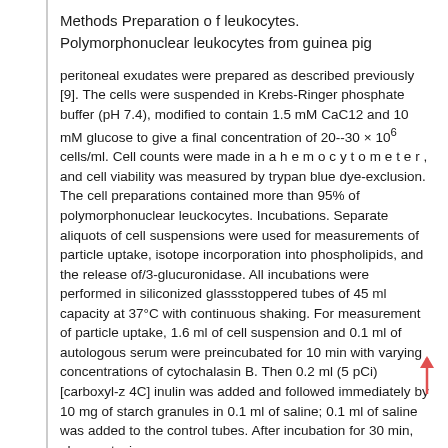Methods Preparation o f leukocytes. Polymorphonuclear leukocytes from guinea pig
peritoneal exudates were prepared as described previously [9]. The cells were suspended in Krebs-Ringer phosphate buffer (pH 7.4), modified to contain 1.5 mM CaC12 and 10 mM glucose to give a final concentration of 20--30 × 106 cells/ml. Cell counts were made in a h e m o c y t o m e t e r , and cell viability was measured by trypan blue dye-exclusion. The cell preparations contained more than 95% of polymorphonuclear leuckocytes. Incubations. Separate aliquots of cell suspensions were used for measurements of particle uptake, isotope incorporation into phospholipids, and the release of/3-glucuronidase. All incubations were performed in siliconized glassstoppered tubes of 45 ml capacity at 37°C with continuous shaking. For measurement of particle uptake, 1.6 ml of cell suspension and 0.1 ml of autologous serum were preincubated for 10 min with varying concentrations of cytochalasin B. Then 0.2 ml (5 pCi) [carboxyl-z 4C] inulin was added and followed immediately by 10 mg of starch granules in 0.1 ml of saline; 0.1 ml of saline was added to the control tubes. After incubation for 30 min, phagocytosis